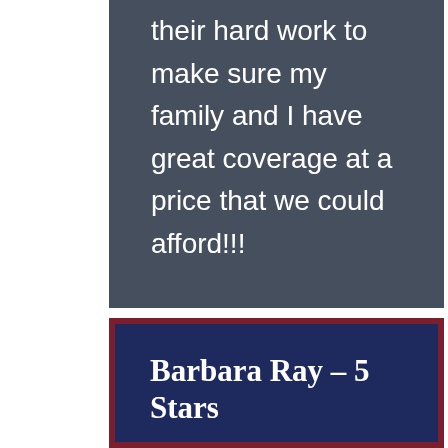their hard work to make sure my family and I have great coverage at a price that we could afford!!!
Barbara Ray – 5 Stars
Jake Kuhlman came to my rescue when I was overwhelmed with some life events and struggling to find insurance. There is a LOT of info out there when you're researching health insurance. He found a great and affordable plan that is a perfect fit for what I need. And he always responded to my emails so promptly. Great experience!